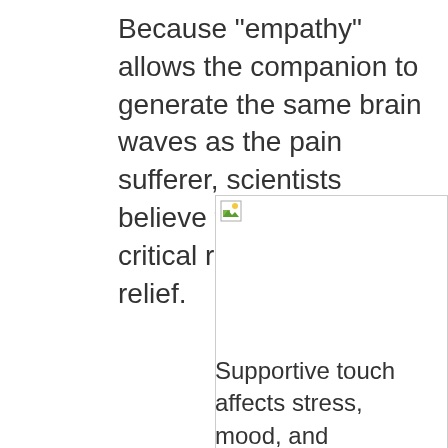Because "empathy" allows the companion to generate the same brain waves as the pain sufferer, scientists believe this is one of the critical reasons for pain relief.
[Figure (photo): Broken/missing image placeholder icon with a border box indicating an image that could not be loaded]
Supportive touch affects stress, mood, and concentration, which in turn alter the perception of pain in the brain. (Photo via